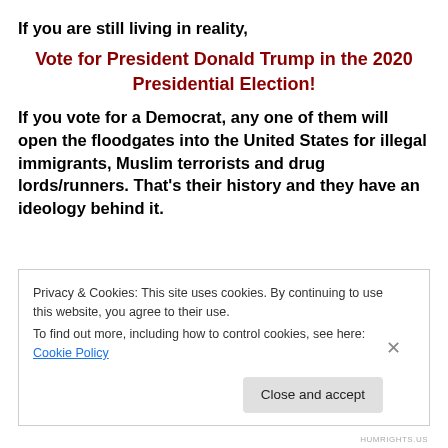If you are still living in reality,
Vote for President Donald Trump in the 2020 Presidential Election!
If you vote for a Democrat, any one of them will open the floodgates into the United States for illegal immigrants, Muslim terrorists and drug lords/runners. That’s their history and they have an ideology behind it.
Privacy & Cookies: This site uses cookies. By continuing to use this website, you agree to their use.
To find out more, including how to control cookies, see here: Cookie Policy
Close and accept